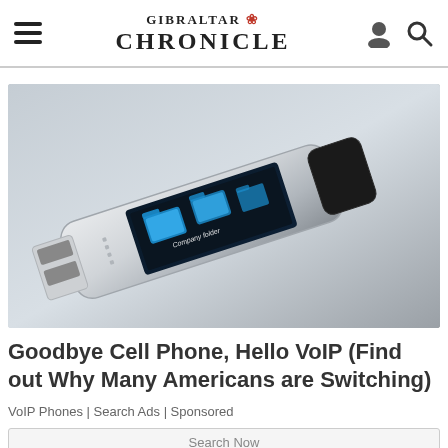GIBRALTAR CHRONICLE
[Figure (photo): A metallic USB drive / dongle device with a small touchscreen display showing blue folder icons labeled 'Company folder', photographed on a gray background. The device has a black cap detached.]
Goodbye Cell Phone, Hello VoIP (Find out Why Many Americans are Switching)
VoIP Phones | Search Ads | Sponsored
Search Now